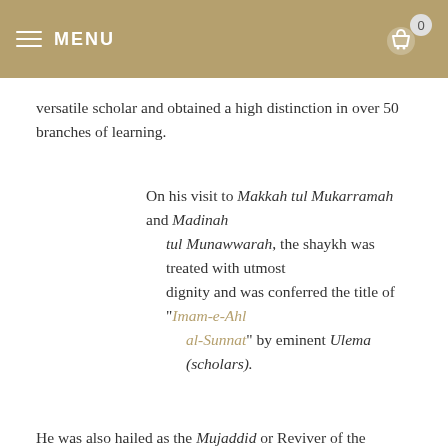MENU
versatile scholar and obtained a high distinction in over 50 branches of learning.
On his visit to Makkah tul Mukarramah and Madinah tul Munawwarah, the shaykh was treated with utmost dignity and was conferred the title of "Imam-e-Ahl al-Sunnat" by eminent Ulema (scholars).
He was also hailed as the Mujaddid or Reviver of the Century. He acted as a shield against those who wanted to assault the principles of the Ahl as-Sunnah wa'l Jama'ah (the majority group of muslims who